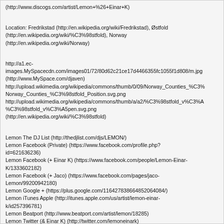(http://www.discogs.com/artist/Lemon+%26+Einar+K)
Location: Fredrikstad (http://en.wikipedia.org/wiki/Fredrikstad), Østfold (http://en.wikipedia.org/wiki/%C3%98stfold), Norway (http://en.wikipedia.org/wiki/Norway)
http://a1.ec-images.MySpacecdn.com/images01/72/80d62c21ce17d4466355fc1055f1d808/m.jpg (http://www.MySpace.com/djaven) http://upload.wikimedia.org/wikipedia/commons/thumb/0/09/Norway_Counties_%C3%98stfold_Position.svg.png Norway_Counties_%C3%98stfold_Position.svg.png http://upload.wikimedia.org/wikipedia/commons/thumb/a/a2/%C3%98stfold_v%C3%A5pen.svg.png %C3%98stfold_v%C3%A5pen.svg.png (http://en.wikipedia.org/wiki/%C3%98stfold)
Lemon The DJ List (http://thedjlist.com/djs/LEMON/)
Lemon Facebook (Private) (https://www.facebook.com/profile.php?id=621636236)
Lemon Facebook (+ Einar K) (https://www.facebook.com/people/Lemon-Einar-K/1333602182)
Lemon Facebook (+ Jaco) (https://www.facebook.com/pages/jaco-Lemon/99200942180)
Lemon Google + (https://plus.google.com/116427838664852064084/)
Lemon iTunes Apple (http://itunes.apple.com/us/artist/lemon-einar-k/id257396781)
Lemon Beatport (http://www.beatport.com/artist/lemon/18285)
Lemon Twitter (& Einar K) (http://twitter.com/lemoneinark)
Lemon MySpace (http://www.MySpace.com/djaven)
http://www.ah.fm/forum/member.php?15253-lemonandeinark (http://www.ah.fm/forum/member.php?15253-lemonandeinark) :ah:
(http://www.ah.fm/forum/showthread.php?12960-14-09-2008-Lemon-amp